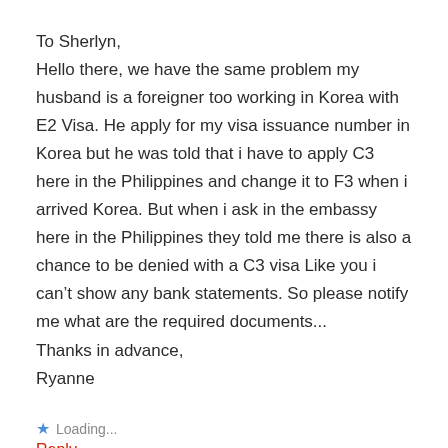To Sherlyn,
Hello there, we have the same problem my husband is a foreigner too working in Korea with E2 Visa. He apply for my visa issuance number in Korea but he was told that i have to apply C3 here in the Philippines and change it to F3 when i arrived Korea. But when i ask in the embassy here in the Philippines they told me there is also a chance to be denied with a C3 visa Like you i can’t show any bank statements. So please notify me what are the required documents...
Thanks in advance,
Ryanne
Loading...
Reply